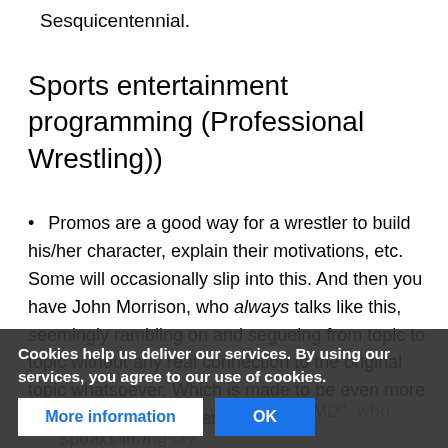Sesquicentennial.
Sports entertainment programming (Professional Wrestling))
Promos are a good way for a wrestler to build his/her character, explain their motivations, etc. Some will occasionally slip into this. And then you have John Morrison, who always talks like this, seemingly rambling on and segueing from topic to topic without any real connection to the original topic whatsoever. Which is made to be even more ridiculous when compared to his (former) tag team partner, "The Miz", who speaks in a ... the rallying cry "OOO-RAH!" ...
John Mo... atz of Jim